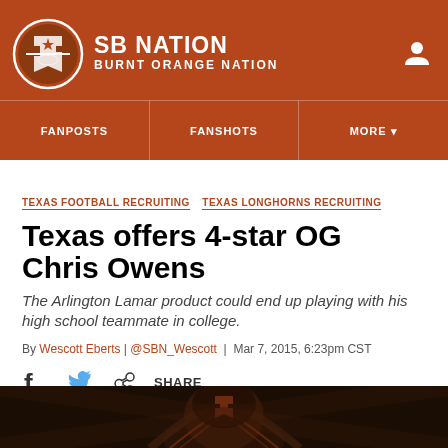SB NATION – BURNT ORANGE NATION
TEXAS FOOTBALL RECRUITING   TEXAS LONGHORNS RECRUITING
Texas offers 4-star OG Chris Owens
The Arlington Lamar product could end up playing with his high school teammate in college.
By Wescott Eberts | @SBN_Wescott | Mar 7, 2015, 6:23pm CST
[Figure (screenshot): Share bar with Facebook, Twitter and Share icons; bottom partial photo of a football player helmet]